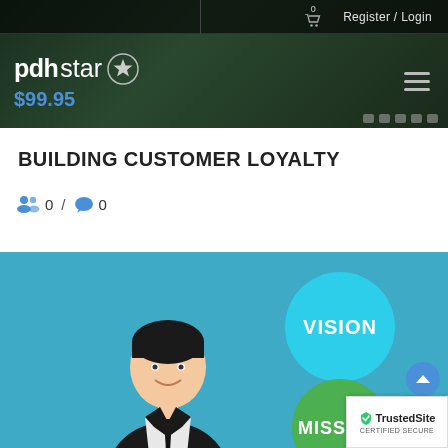0  Register / Login
[Figure (logo): pdhstar logo with star in circle, price $99.95 below, hamburger menu icon on right]
BUILDING CUSTOMER LOYALTY
0 / 0
[Figure (screenshot): Course video thumbnail with animated presenter in suit, VISION circle bubble and MISSION circle bubble on teal/blue background]
[Figure (logo): TrustedSite CERTIFIED SECURE badge]